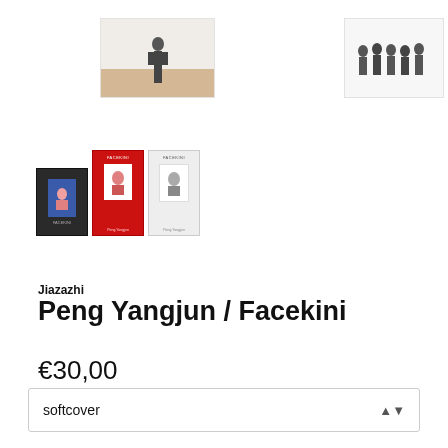[Figure (photo): Two thumbnail images at the top: left shows a single person standing on a warm-toned backdrop, right shows a group of people (silhouettes) on a white backdrop]
[Figure (photo): Middle row: three small book covers grouped together (dark/black, red, and light gray/white with 'Facekini' title text visible), one standalone blue book cover with face illustration, and one standalone red book cover]
Jiazazhi
Peng Yangjun / Facekini
€30,00
softcover